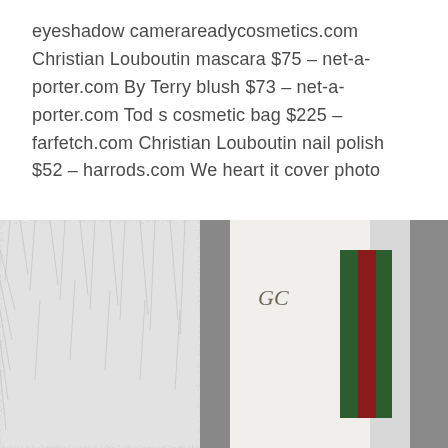eyeshadow camerareadycosmetics.com Christian Louboutin mascara $75 – net-a-porter.com By Terry blush $73 – net-a-porter.com Tod s cosmetic bag $225 – farfetch.com Christian Louboutin nail polish $52 – harrods.com We heart it cover photo
[Figure (photo): Close-up photograph of a white fluffy fur coat next to a white Gucci-style tote bag with green and red stripe detail, shot in black and white tones with high contrast.]